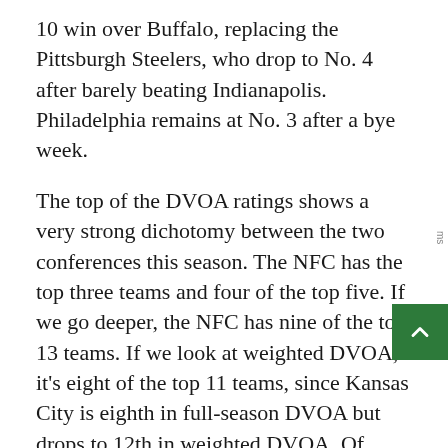10 win over Buffalo, replacing the Pittsburgh Steelers, who drop to No. 4 after barely beating Indianapolis. Philadelphia remains at No. 3 after a bye week.
The top of the DVOA ratings shows a very strong dichotomy between the two conferences this season. The NFC has the top three teams and four of the top five. If we go deeper, the NFC has nine of the top 13 teams. If we look at weighted DVOA, it's eight of the top 11 teams, since Kansas City is eighth in full-season DVOA but drops to 12th in weighted DVOA. Of course, you don't need DVOA to know how imbalanced the conferences are this year. There are ten teams with winning records in the NFC and only six teams with winning records in the AFC.
As far as those AFC teams, this was a big week for the New England Patriots, who finally moved into the top ten, as a continuation of their recent th